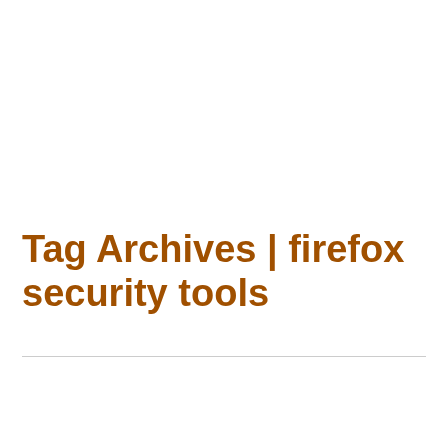Tag Archives | firefox security tools